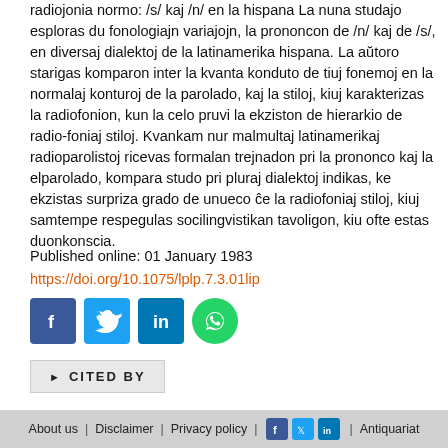radiojonia normo: /s/ kaj /n/ en la hispana La nuna studajo esploras du fonologiajn variajojn, la prononcon de /n/ kaj de /s/, en diversaj dialektoj de la latinamerika hispana. La aŭtoro starigas komparon inter la kvanta konduto de tiuj fonemoj en la normalaj konturoj de la parolado, kaj la stiloj, kiuj karakterizas la radiofonion, kun la celo pruvi la ekziston de hierarkio de radio-foniaj stiloj. Kvankam nur malmultaj latinamerikaj radioparolistoj ricevas formalan trejnadon pri la prononco kaj la elparolado, kompara studo pri pluraj dialektoj indikas, ke ekzistas surpriza grado de unueco ĉe la radiofoniaj stiloj, kiuj samtempe respegulas socilingvistikan tavoligon, kiu ofte estas duonkonscia.
Published online: 01 January 1983
https://doi.org/10.1075/lplp.7.3.01lip
[Figure (other): Social sharing icons: Facebook, Twitter, LinkedIn, WhatsApp]
CITED BY
About us | Disclaimer | Privacy policy | [Facebook icon] [Twitter icon] [LinkedIn icon] | Antiquariat